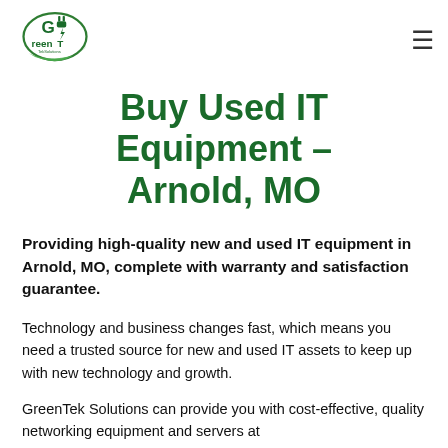[Figure (logo): GreenTek Solutions logo with green lightning bolt plug icon and green leaf swoosh]
Buy Used IT Equipment - Arnold, MO
Providing high-quality new and used IT equipment in Arnold, MO, complete with warranty and satisfaction guarantee.
Technology and business changes fast, which means you need a trusted source for new and used IT assets to keep up with new technology and growth.
GreenTek Solutions can provide you with cost-effective, quality networking equipment and servers at